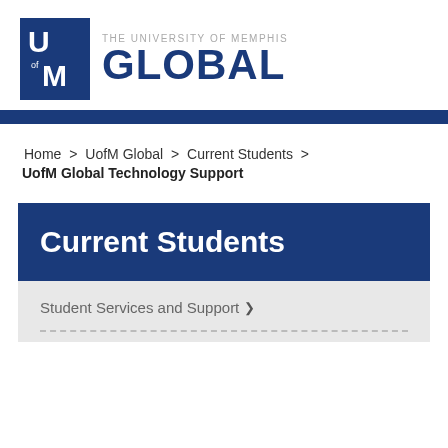[Figure (logo): University of Memphis Global logo — blue square icon with UofM letters and text 'THE UNIVERSITY OF MEMPHIS GLOBAL']
Home > UofM Global > Current Students > UofM Global Technology Support
Current Students
Student Services and Support >